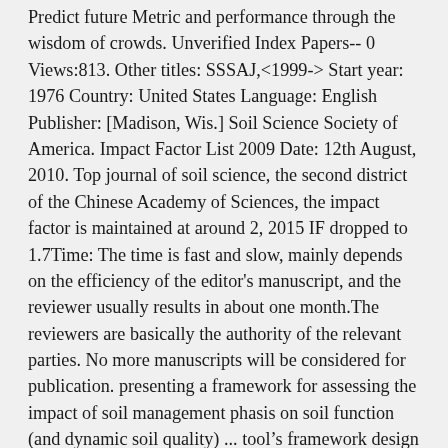Predict future Metric and performance through the wisdom of crowds. Unverified Index Papers-- 0 Views:813. Other titles: SSSAJ,<1999-> Start year: 1976 Country: United States Language: English Publisher: [Madison, Wis.] Soil Science Society of America. Impact Factor List 2009 Date: 12th August, 2010. Top journal of soil science, the second district of the Chinese Academy of Sciences, the impact factor is maintained at around 2, 2015 IF dropped to 1.7Time: The time is fast and slow, mainly depends on the efficiency of the editor's manuscript, and the reviewer usually results in about one month.The reviewers are basically the authority of the relevant parties. No more manuscripts will be considered for publication. presenting a framework for assessing the impact of soil management phasis on soil function (and dynamic soil quality) ... tool’s framework design allows researchers to continually update and five soil forming factors (Jenny, 1941), and land use suit-refine the interpretations for many soils, climates, and land use prac-ability are emphasized. The Journal Impact of an academic journal is a scientometric Metric that reflects